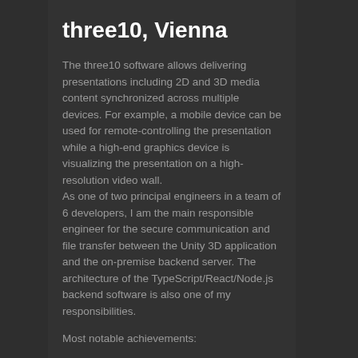three10, Vienna
The three10 software allows delivering presentations including 2D and 3D media content synchronized across multiple devices. For example, a mobile device can be used for remote-controlling the presentation while a high-end graphics device is visualizing the presentation on a high-resolution video wall.
As one of two principal engineers in a team of 6 developers, I am the main responsible engineer for the secure communication and file transfer between the Unity 3D application and the on-premise backend server. The architecture of the TypeScript/React/Node.js backend software is also one of my responsibilities.
Most notable achievements: